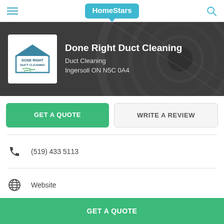HomeStars
[Figure (screenshot): Done Right Duct Cleaning company hero banner with dark metallic duct background]
Done Right Duct Cleaning
Duct Cleaning
Ingersoll ON N5C 0A4
GET A QUOTE
WRITE A REVIEW
(519) 433 5113
Website
GET A QUOTE